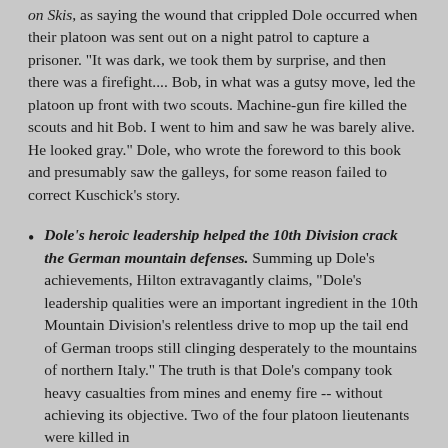on Skis, as saying the wound that crippled Dole occurred when their platoon was sent out on a night patrol to capture a prisoner. "It was dark, we took them by surprise, and then there was a firefight.... Bob, in what was a gutsy move, led the platoon up front with two scouts. Machine-gun fire killed the scouts and hit Bob. I went to him and saw he was barely alive. He looked gray." Dole, who wrote the foreword to this book and presumably saw the galleys, for some reason failed to correct Kuschick's story.
Dole's heroic leadership helped the 10th Division crack the German mountain defenses. Summing up Dole's achievements, Hilton extravagantly claims, "Dole's leadership qualities were an important ingredient in the 10th Mountain Division's relentless drive to mop up the tail end of German troops still clinging desperately to the mountains of northern Italy." The truth is that Dole's company took heavy casualties from mines and enemy fire -- without achieving its objective. Two of the four platoon lieutenants were killed in